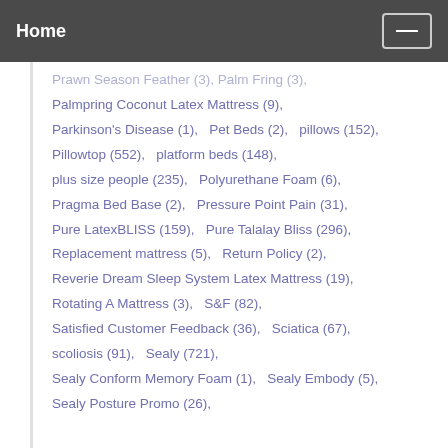Home
Palmpring Coconut Latex Mattress (9),
Parkinson's Disease (1),  Pet Beds (2),  pillows (152),
Pillowtop (552),  platform beds (148),
plus size people (235),  Polyurethane Foam (6),
Pragma Bed Base (2),  Pressure Point Pain (31),
Pure LatexBLISS (159),  Pure Talalay Bliss (296),
Replacement mattress (5),  Return Policy (2),
Reverie Dream Sleep System Latex Mattress (19),
Rotating A Mattress (3),  S&F (82),
Satisfied Customer Feedback (36),  Sciatica (67),
scoliosis (91),  Sealy (721),
Sealy Conform Memory Foam (1),  Sealy Embody (5),
Sealy Posture Promo (26),